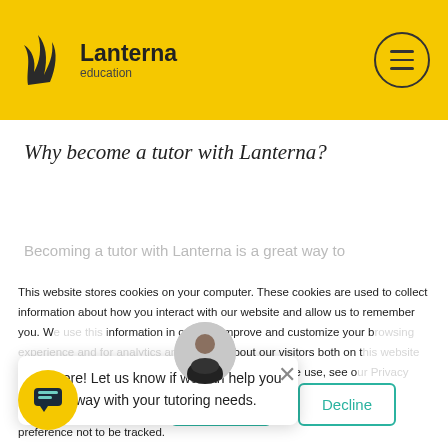[Figure (logo): Lanterna Education logo with stylized wing/flame icon on yellow header bar]
Why become a tutor with Lanterna?
Becoming a tutor with Lanterna is a great way to...
This website stores cookies on your computer. These cookies are used to collect information about how you interact with our website and allow us to remember you. We use this information in order to improve and customize your browsing experience and for analytics and metrics about our visitors both on this website and other media. To find out more about the cookies we use, see our Privacy Policy. If you decline, your information won't be tracked when you visit this website. A single cookie will be used in your browser to remember your preference not to be tracked.
Hi there! Let us know if we can help you in any way with your tutoring needs.
Accept
Decline